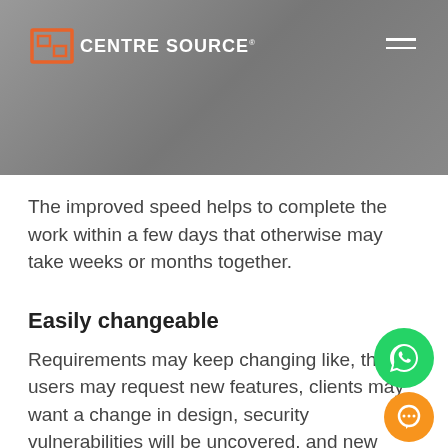CENTRE SOURCE
The improved speed helps to complete the work within a few days that otherwise may take weeks or months together.
Easily changeable
Requirements may keep changing like, the users may request new features, clients may want a change in design, security vulnerabilities will be uncovered, and new standards for privacy will be demanded etc. The problem with traditional coding is that it becomes extremely difficult to change a